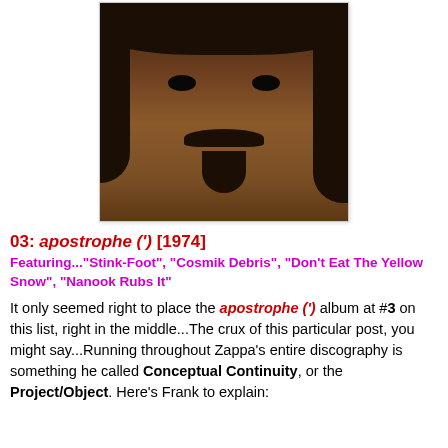[Figure (photo): Close-up portrait photo of Frank Zappa with dark curly hair, mustache, and goatee]
03: apostrophe (') [1974]
Featuring..."Stink-Foot", "Cosmik Debris", "Don't Eat The Yellow Snow", "Nanook Rubs It"
It only seemed right to place the apostrophe (') album at #3 on this list, right in the middle...The crux of this particular post, you might say...Running throughout Zappa's entire discography is something he called Conceptual Continuity, or the Project/Object. Here's Frank to explain: